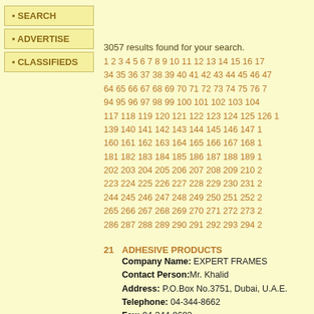SEARCH
ADVERTISE
CLASSIFIEDS
3057 results found for your search.
1 2 3 4 5 6 7 8 9 10 11 12 13 14 15 16 17 34 35 36 37 38 39 40 41 42 43 44 45 46 47 64 65 66 67 68 69 70 71 72 73 74 75 76 77 94 95 96 97 98 99 100 101 102 103 104 117 118 119 120 121 122 123 124 125 126 127 139 140 141 142 143 144 145 146 147 148 160 161 162 163 164 165 166 167 168 169 181 182 183 184 185 186 187 188 189 190 202 203 204 205 206 207 208 209 210 211 223 224 225 226 227 228 229 230 231 232 244 245 246 247 248 249 250 251 252 253 265 266 267 268 269 270 271 272 273 274 286 287 288 289 290 291 292 293 294 295
21 ADHESIVE PRODUCTS
Company Name: EXPERT FRAMES
Contact Person: Mr. Khalid
Address: P.O.Box No.3751, Dubai, U.A.E.
Telephone: 04-344-8662
Fax: 04-344-8682
Email:
All kind of oriental classical oil paint and posters